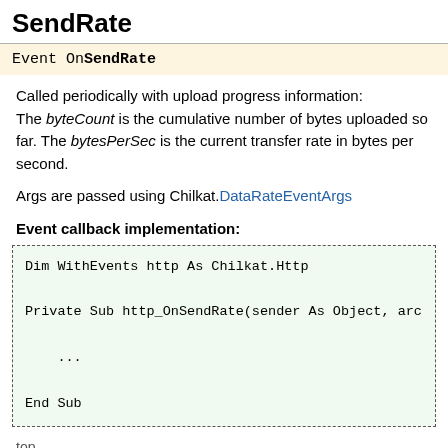SendRate
Event OnSendRate
Called periodically with upload progress information: The byteCount is the cumulative number of bytes uploaded so far. The bytesPerSec is the current transfer rate in bytes per second.
Args are passed using Chilkat.DataRateEventArgs
Event callback implementation:
Dim WithEvents http As Chilkat.Http

Private Sub http_OnSendRate(sender As Object, arc

    ...

End Sub
top